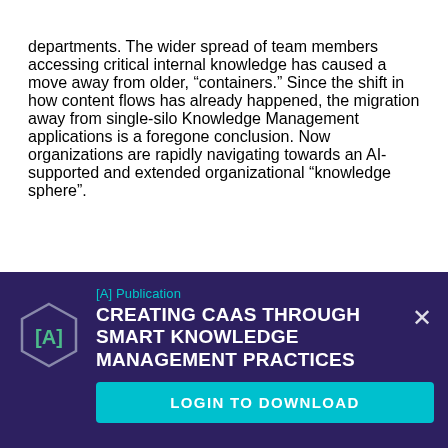departments. The wider spread of team members accessing critical internal knowledge has caused a move away from older, “containers.” Since the shift in how content flows has already happened, the migration away from single-silo Knowledge Management applications is a foregone conclusion. Now organizations are rapidly navigating towards an AI-supported and extended organizational “knowledge sphere”.
[Figure (infographic): Dark purple promotional banner for '[A] Publication' titled 'CREATING CAAS THROUGH SMART KNOWLEDGE MANAGEMENT PRACTICES' with a hexagonal [A] logo on the left, a cyan 'LOGIN TO DOWNLOAD' button at the bottom, and a close (X) button on the right.]